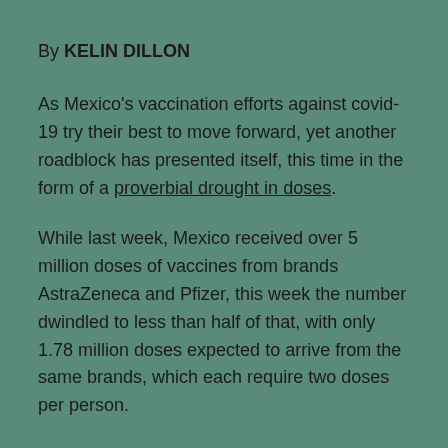By KELIN DILLON
As Mexico's vaccination efforts against covid-19 try their best to move forward, yet another roadblock has presented itself, this time in the form of a proverbial drought in doses.
While last week, Mexico received over 5 million doses of vaccines from brands AstraZeneca and Pfizer, this week the number dwindled to less than half of that, with only 1.78 million doses expected to arrive from the same brands, which each require two doses per person.